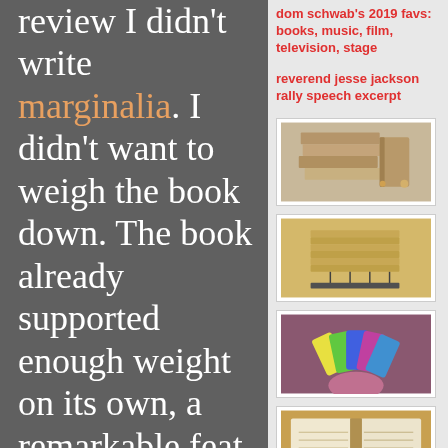review I didn't write marginalia. I didn't want to weigh the book down. The book already supported enough weight on its own, a remarkable feat considering it didn't use
dom schwab's 2019 favs: books, music, film, television, stage
reverend jesse jackson rally speech excerpt
[Figure (photo): Stack of brown cardboard/kraft paper notebooks arranged in a pile]
[Figure (photo): Stack of sewn-spine notebooks viewed from side showing binding threads]
[Figure (photo): Hand holding a fan of colorful small notebooks in various colors]
[Figure (photo): Open notebook showing blank lined interior pages]